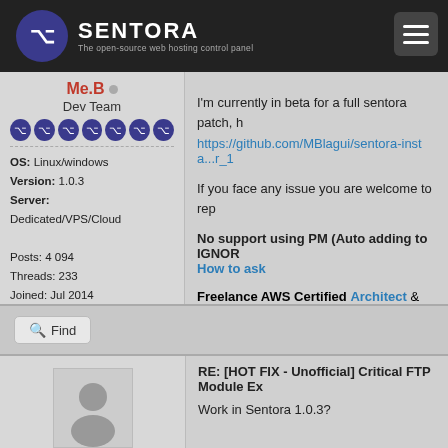SENTORA — The open-source web hosting control panel
I'm currently in beta for a full sentora patch, h
https://github.com/MBlagui/sentora-insta...r_1
If you face any issue you are welcome to rep
No support using PM (Auto adding to IGNOR How to ask Freelance AWS Certified Architect & SysOps/ 10$ free to start your VPS
Me.B
Dev Team
OS: Linux/windows
Version: 1.0.3
Server: Dedicated/VPS/Cloud
Posts: 4 094
Threads: 233
Joined: Jul 2014
Reputation: 89
Sex: Undisclosed
Thanks: 63
Given 432 thank(s) in 393 post(s)
Find
RE: [HOT FIX - Unofficial] Critical FTP Module Ex
Work in Sentora 1.0.3?